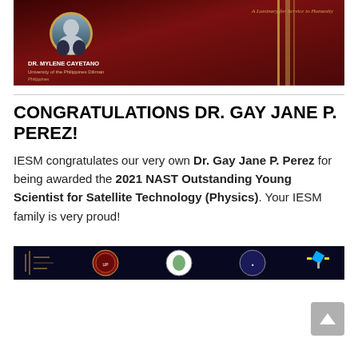[Figure (photo): Dark red/maroon banner with gold accents and a circular portrait photo labeled DR. MYLENE CAYETANO, University of the Philippines Diliman, Philippines, with text 'A Luminary for Service to Humanity']
CONGRATULATIONS DR. GAY JANE P. PEREZ!
IESM congratulates our very own Dr. Gay Jane P. Perez for being awarded the 2021 NAST Outstanding Young Scientist for Satellite Technology (Physics). Your IESM family is very proud!
[Figure (logo): Dark navy banner with institutional logos including University of the Philippines seal, a green circular logo, another institutional seal, and a satellite icon]